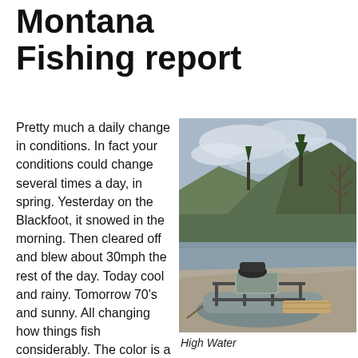Montana Fishing report
Pretty much a daily change in conditions. In fact your conditions could change several times a day, in spring. Yesterday on the Blackfoot, it snowed in the morning. Then cleared off and blew about 30mph the rest of the day. Today cool and rainy. Tomorrow 70's and sunny. All changing how things fish considerably. The color is a nice glacier
[Figure (photo): A grey inflatable raft on a gravel riverbank with a river, trees, hills, and cloudy sky in the background. High water conditions on the Blackfoot River, Montana.]
High Water